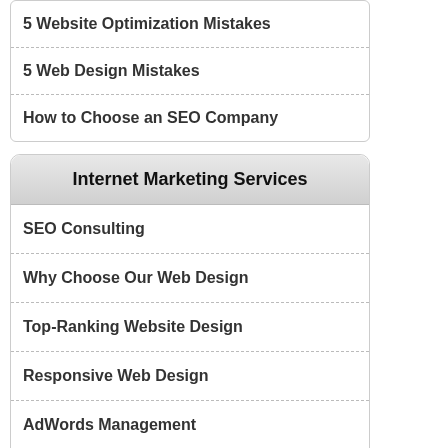5 Website Optimization Mistakes
5 Web Design Mistakes
How to Choose an SEO Company
Internet Marketing Services
SEO Consulting
Why Choose Our Web Design
Top-Ranking Website Design
Responsive Web Design
AdWords Management
Web Content Copywriting
Web Conversion Optimization
Search Engine Optimization Guide